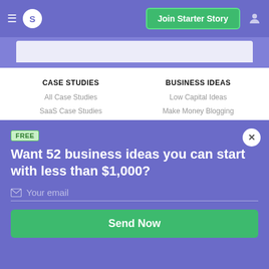≡ S | Join Starter Story | user icon
[Figure (screenshot): Partial view of a card or content preview strip below the nav bar]
CASE STUDIES
All Case Studies
SaaS Case Studies
Blogger Case Studies
BUSINESS IDEAS
Low Capital Ideas
Make Money Blogging
E-Commerce Ideas
FREE
Want 52 business ideas you can start with less than $1,000?
Your email
Send Now